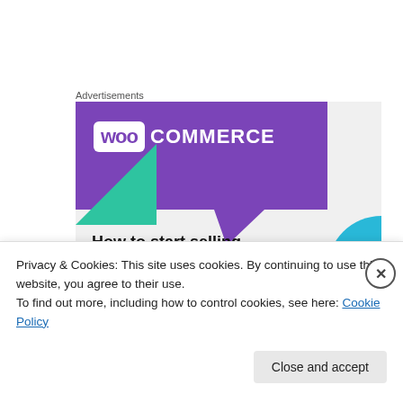Advertisements
[Figure (illustration): WooCommerce advertisement banner showing WooCommerce logo on purple speech bubble background with green triangle and blue arc decorations, and text 'How to start selling subscriptions online']
Privacy & Cookies: This site uses cookies. By continuing to use this website, you agree to their use.
To find out more, including how to control cookies, see here: Cookie Policy
Close and accept